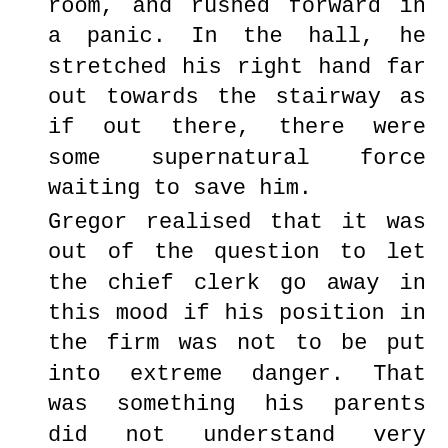room, and rushed forward in a panic. In the hall, he stretched his right hand far out towards the stairway as if out there, there were some supernatural force waiting to save him.
Gregor realised that it was out of the question to let the chief clerk go away in this mood if his position in the firm was not to be put into extreme danger. That was something his parents did not understand very well; over the years, they had become convinced that this job would provide for Gregor for his entire life, and besides, they had so much to worry about at present that they had lost sight of any thought for the future. Gregor, though, did think about the